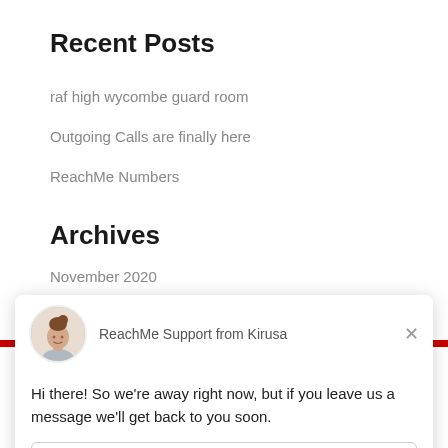Recent Posts
raf high wycombe guard room
Outgoing Calls are finally here
ReachMe Numbers
Archives
November 2020
2018
[Figure (screenshot): Drift chat widget showing avatar of support agent, header 'ReachMe Support from Kirusa', message 'Hi there! So we're away right now, but if you leave us a message we'll get back to you soon.', reply input box placeholder 'Reply to ReachMe Support', and footer 'Chat by Drift']